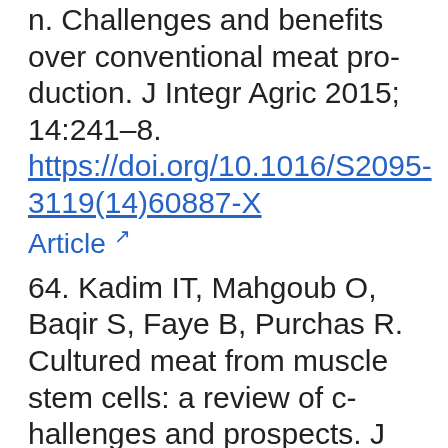n. Challenges and benefits over conventional meat production. J Integr Agric 2015; 14:241–8. https://doi.org/10.1016/S2095-3119(14)60887-X
Article [external link]
64. Kadim IT, Mahgoub O, Baqir S, Faye B, Purchas R. Cultured meat from muscle stem cells: a review of challenges and prospects. J